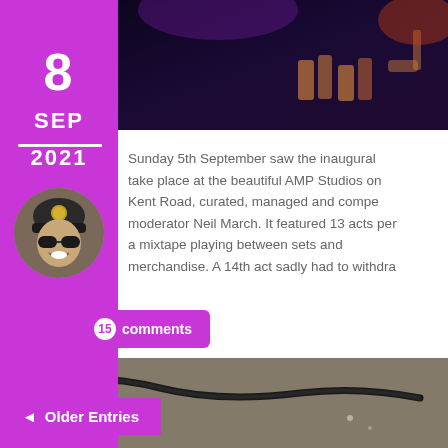[Figure (photo): Dark bar/event venue photo with cups/glasses visible at top, shown in background strip]
[Figure (photo): Circular avatar/profile photo of a person wearing a dark beanie hat and sunglasses, smiling]
Sunday 5th September saw the inaugural take place at the beautiful AMP Studios on Kent Road, curated, managed and compe moderator Neil March. It featured 13 acts per a mixtape playing between sets and merchandise. A 14th act sadly had to withdra
15 comments
[Figure (photo): Bottom photo showing a dark cable/cord on a gray carpet floor]
◄ Older Entries